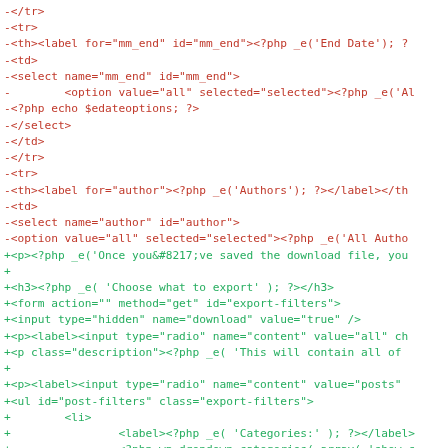[Figure (screenshot): A code diff view showing removed lines (red, prefixed with -) and added lines (green, prefixed with +). The diff shows PHP/HTML template code for a WordPress export form, replacing an old filter interface with a new export filter form including radio buttons and dropdowns for categories and authors.]